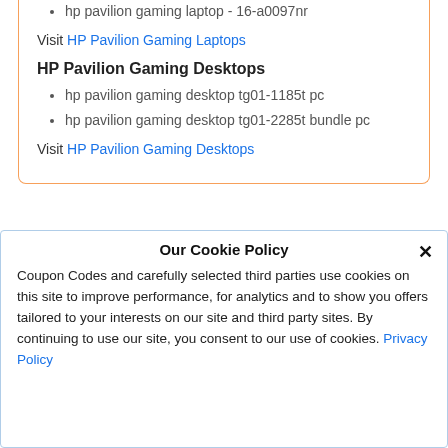hp pavilion gaming laptop - 16-a0097nr
Visit HP Pavilion Gaming Laptops
HP Pavilion Gaming Desktops
hp pavilion gaming desktop tg01-1185t pc
hp pavilion gaming desktop tg01-2285t bundle pc
Visit HP Pavilion Gaming Desktops
5% Get 5% off on HP eligible PCs
Our Cookie Policy
Coupon Codes and carefully selected third parties use cookies on this site to improve performance, for analytics and to show you offers tailored to your interests on our site and third party sites. By continuing to use our site, you consent to our use of cookies. Privacy Policy